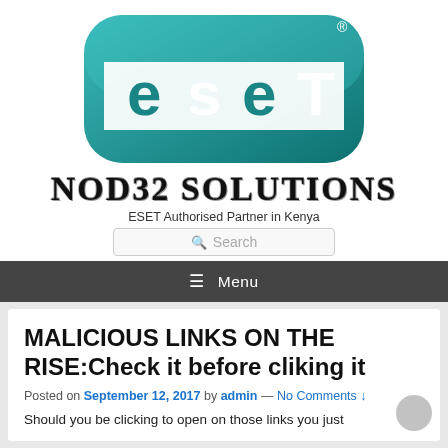[Figure (logo): ESET logo — teal rounded rectangle with white 'eset' lettering and registered trademark symbol]
NOD32 SOLUTIONS
ESET Authorised Partner in Kenya
Search
Menu
MALICIOUS LINKS ON THE RISE:Check it before cliking it
Posted on September 12, 2017 by admin — No Comments ↓
Should you be clicking to open on those links you just…